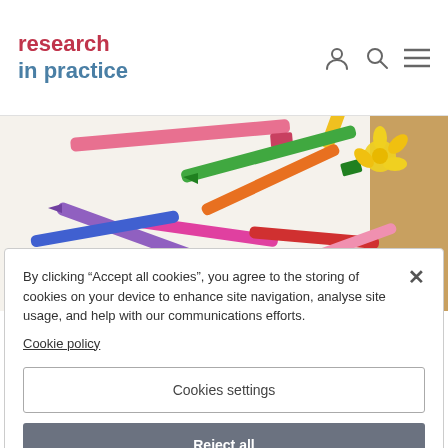research in practice
[Figure (photo): Scattered colorful crayons on a white surface with a yellow paper flower and wooden surface in background]
By clicking “Accept all cookies”, you agree to the storing of cookies on your device to enhance site navigation, analyse site usage, and help with our communications efforts.
Cookie policy
Cookies settings
Reject all
Accept all cookies